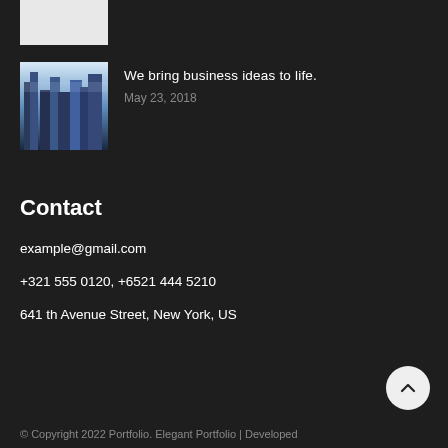[Figure (photo): Small white/light rectangular placeholder image at top left]
[Figure (photo): Thumbnail photo of city skyscrapers viewed from below, Times Square style]
We bring business ideas to life.
May 23, 2018
Contact
example@gmail.com
+321 555 0120, +6521 444 5210
641 th Avenue Street, New York, US
© Copyright 2022 Portfolio. Elegant Portfolio | Developed